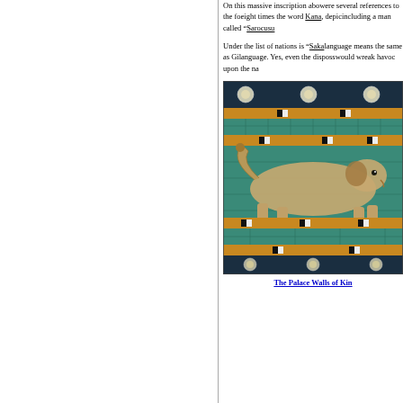On this massive inscription abo... were several references to the fo... eight times the word Kana, depi... including a man called “Sarocusu...
Under the list of nations is “Saka... language means the same as Gi... language. Yes, even the disposs... would wreak havoc upon the na...
[Figure (photo): Photo of the Palace Walls of King Nebuchadnezzar showing ancient Babylonian glazed brick wall with a lion relief figure in teal/turquoise and golden-yellow tile bands, with white flower rosettes along the top border.]
The Palace Walls of Kin...